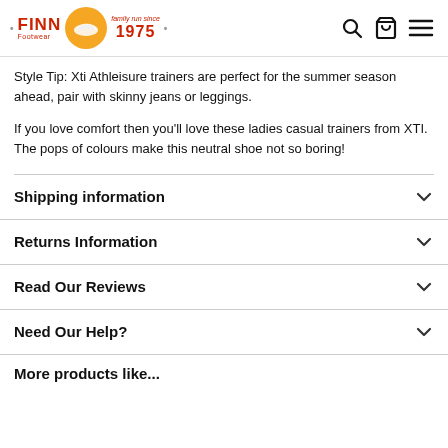FINN Footwear — Family run since 1975
Style Tip: Xti Athleisure trainers are perfect for the summer season ahead, pair with skinny jeans or leggings.
If you love comfort then you'll love these ladies casual trainers from XTI. The pops of colours make this neutral shoe not so boring!
Shipping information
Returns Information
Read Our Reviews
Need Our Help?
More products like...